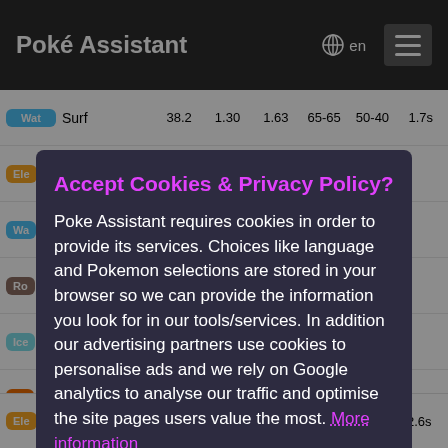Poké Assistant  🌐 en
| Type | Move | Stat1 | Stat2 | Stat3 | Stat4 | Stat5 | Stat6 |
| --- | --- | --- | --- | --- | --- | --- | --- |
| Wat | Surf | 38.2 | 1.30 | 1.63 | 65-65 | 50-40 | 1.7s |
| Ele |  |  |  |  |  |  |  |
| Wa |  |  |  |  |  |  |  |
| Ro |  |  |  |  |  |  |  |
| Ice |  |  |  |  |  |  |  |
| Fir |  |  |  |  |  |  |  |
| Ste |  |  |  |  |  |  |  |
| Gro |  |  |  |  |  |  |  |
| Psy |  |  |  |  |  |  |  |
| Da |  |  |  |  |  |  |  |
| Po |  |  |  |  |  |  |  |
| Ele | Wild Charge | 34.6 | 1.80 | 1.80 | 90-90 | 50-50 | 2.6s |
Accept Cookies & Privacy Policy?
Poke Assistant requires cookies in order to provide its services. Choices like language and Pokemon selections are stored in your browser so we can provide the information you look for in our tools/services. In addition our advertising partners use cookies to personalise ads and we rely on Google analytics to analyse our traffic and optimise the site pages users value the most. More information